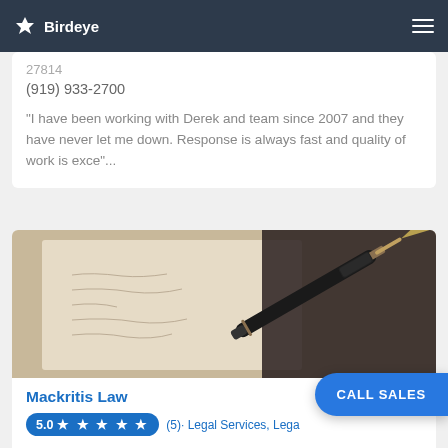Birdeye
27814
(919) 933-2700
"I have been working with Derek and team since 2007 and they have never let me down. Response is always fast and quality of work is exce"...
[Figure (photo): Close-up photo of a fountain pen resting on paper with handwritten text]
Mackritis Law
5.0 ★★★★★ (5)· Legal Services, Lega
901 Dawes St, Chapel Hill, NC 27516
(919) 687-0775
CALL SALES